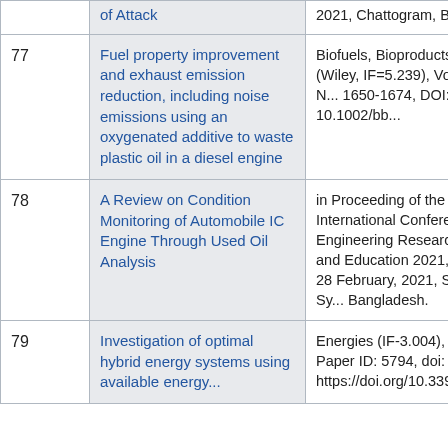| # | Title | Publication |
| --- | --- | --- |
|  | of Attack | 2021, Chattogram, Banglo... |
| 77 | Fuel property improvement and exhaust emission reduction, including noise emissions using an oxygenated additive to waste plastic oil in a diesel engine | Biofuels, Bioproducts & Bi... (Wiley, IF=5.239), Vol. 15, N... 1650-1674, DOI: 10.1002/bb... |
| 78 | A Review on Condition Monitoring of Automobile IC Engine Through Used Oil Analysis | in Proceeding of the 6th International Conference Engineering Research, Inn... and Education 2021, Pape... 28 February, 2021, SUST, Sy... Bangladesh. |
| 79 | Investigation of optimal hybrid energy systems using available energy... | Energies (IF-3.004), Vol.14, Paper ID: 5794, doi: https://doi.org/10.3390/e... |